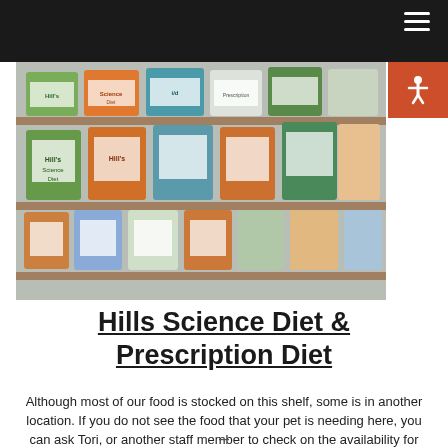[Figure (photo): Shelves stocked with Hill's Science Diet and Prescription Diet pet food bags of various sizes and formulas]
Hills Science Diet & Prescription Diet
Although most of our food is stocked on this shelf, some is in another location. If you do not see the food that your pet is needing here, you can ask Tori, or another staff member to check on the availability for you. We do special orders, as well.
–
–